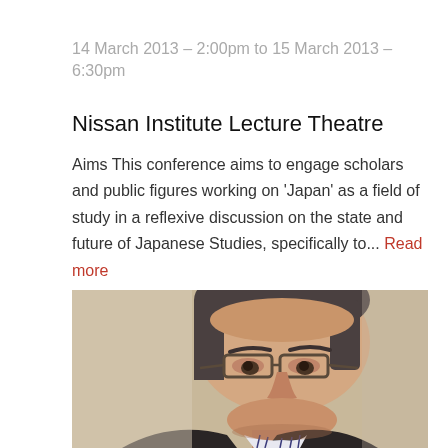14 March 2013 – 2:00pm to 15 March 2013 – 6:30pm
Nissan Institute Lecture Theatre
Aims This conference aims to engage scholars and public figures working on 'Japan' as a field of study in a reflexive discussion on the state and future of Japanese Studies, specifically to... Read more
[Figure (photo): Close-up photograph of a middle-aged Asian man wearing glasses and a dark suit with a striped shirt, looking downward]